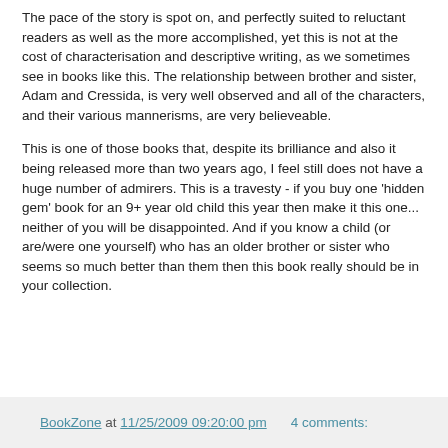The pace of the story is spot on, and perfectly suited to reluctant readers as well as the more accomplished, yet this is not at the cost of characterisation and descriptive writing, as we sometimes see in books like this. The relationship between brother and sister, Adam and Cressida, is very well observed and all of the characters, and their various mannerisms, are very believeable.
This is one of those books that, despite its brilliance and also it being released more than two years ago, I feel still does not have a huge number of admirers. This is a travesty - if you buy one 'hidden gem' book for an 9+ year old child this year then make it this one... neither of you will be disappointed. And if you know a child (or are/were one yourself) who has an older brother or sister who seems so much better than them then this book really should be in your collection.
BookZone at 11/25/2009 09:20:00 pm    4 comments: